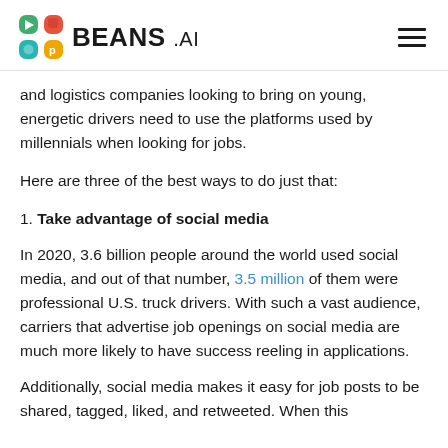BEANS .AI
and logistics companies looking to bring on young, energetic drivers need to use the platforms used by millennials when looking for jobs.
Here are three of the best ways to do just that:
1. Take advantage of social media
In 2020, 3.6 billion people around the world used social media, and out of that number, 3.5 million of them were professional U.S. truck drivers. With such a vast audience, carriers that advertise job openings on social media are much more likely to have success reeling in applications.
Additionally, social media makes it easy for job posts to be shared, tagged, liked, and retweeted. When this